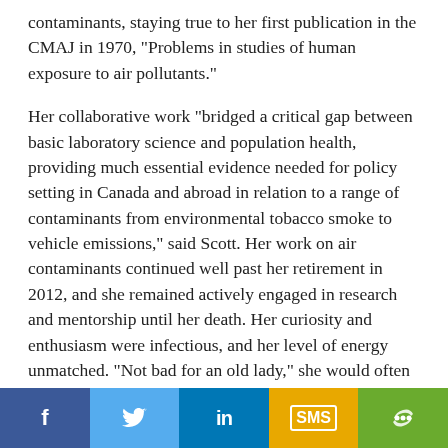contaminants, staying true to her first publication in the CMAJ in 1970, “Problems in studies of human exposure to air pollutants.”
Her collaborative work “bridged a critical gap between basic laboratory science and population health, providing much essential evidence needed for policy setting in Canada and abroad in relation to a range of contaminants from environmental tobacco smoke to vehicle emissions,” said Scott. Her work on air contaminants continued well past her retirement in 2012, and she remained actively engaged in research and mentorship until her death. Her curiosity and enthusiasm were infectious, and her level of energy unmatched. “Not bad for an old lady,” she would often observe.
Over the years, her research activities expanded to
[Figure (other): Social media share bar with buttons for Facebook, Twitter, LinkedIn, SMS, and a share/more icon]